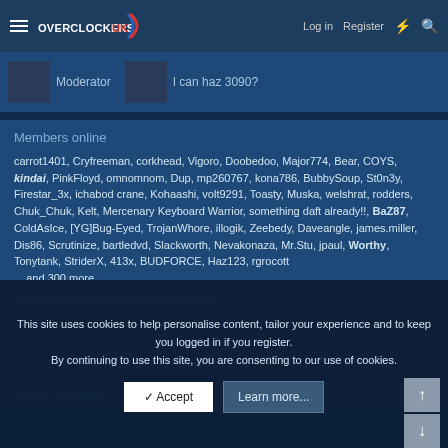Overclockers UK — Log in | Register
Moderator | I can haz 3090?
Members online
carrot1401, Cryfreeman, corkhead, Vigoro, Doobedoo, Major774, Bear, COYS, kindai, PinkFloyd, omnomnom, Dup, mp260767, kona786, BubbySoup, St0n3y, Firestar_3x, ichabod crane, Kohaashi, volt9291, Toasty, Muska, welshrat, rodders, Chuk_Chuk, Kelt, Mercenary Keyboard Warrior, something daft already!!, BaZ87, ColdAsIce, [YG]Bug-Eyed, TrojanWhore, illogik, Zeebedy, Daveangle, james.miller, Dis86, Scrutinize, bartledvd, Slackworth, Nevakonaza, Mr.Stu, jpaul, Worthy, Tonytank, StriderX, 413x, BUDFORCE, Haz123, rgrocott
... and 300 more.
Total: 1,203 (members: 350, guests: 853)
Forum statistics
This site uses cookies to help personalise content, tailor your experience and to keep you logged in if you register.
By continuing to use this site, you are consenting to our use of cookies.